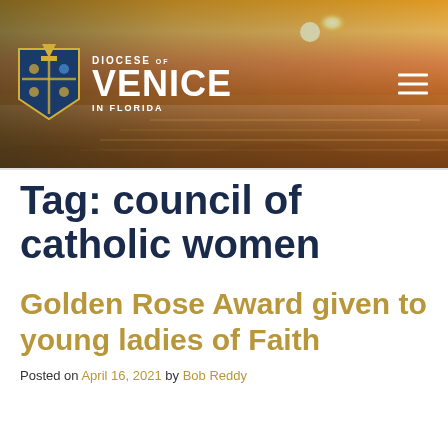[Figure (photo): Diocese of Venice in Florida website header banner with sunset over ocean/beach background, diocese crest logo on left, 'DIOCESE OF VENICE IN FLORIDA' text, and hamburger menu icon on right]
Tag: council of catholic women
Golden Rose Award given to young ladies of Faith
Posted on April 16, 2021 by Bob Reddy